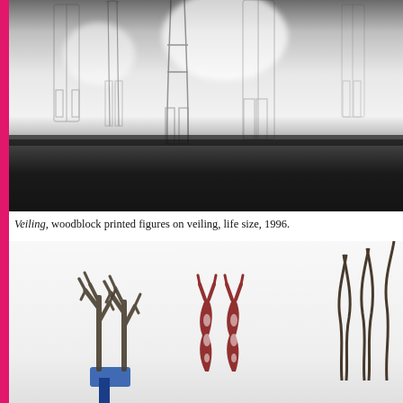[Figure (photo): Black and white photograph of an art installation: ghostly life-size woodblock printed figures on translucent veiling fabric hanging on a wall, 1996.]
Veiling, woodblock printed figures on veiling, life size, 1996.
[Figure (photo): Color photograph showing various small sculptural objects with branching, flame-like, and organic forms in blue, red/brown, and dark colors, arranged on a light background.]